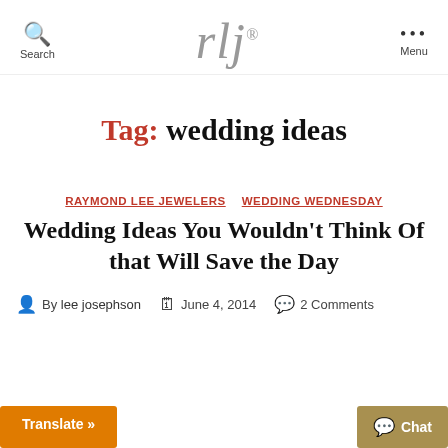rlj® — Search | Menu
Tag: wedding ideas
RAYMOND LEE JEWELERS   WEDDING WEDNESDAY
Wedding Ideas You Wouldn't Think Of that Will Save the Day
By lee josephson   June 4, 2014   2 Comments
Translate »
Chat